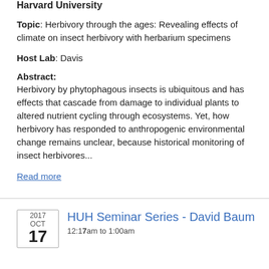Harvard University
Topic: Herbivory through the ages: Revealing effects of climate on insect herbivory with herbarium specimens
Host Lab: Davis
Abstract:
Herbivory by phytophagous insects is ubiquitous and has effects that cascade from damage to individual plants to altered nutrient cycling through ecosystems. Yet, how herbivory has responded to anthropogenic environmental change remains unclear, because historical monitoring of insect herbivores...
Read more
HUH Seminar Series - David Baum
12:17am to 1:00am